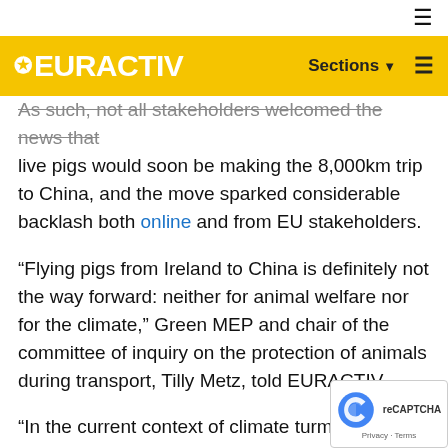EURACTIV — Sections
As such, not all stakeholders welcomed the news that live pigs would soon be making the 8,000km trip to China, and the move sparked considerable backlash both online and from EU stakeholders.
“Flying pigs from Ireland to China is definitely not the way forward: neither for animal welfare nor for the climate,” Green MEP and chair of the committee of inquiry on the protection of animals during transport, Tilly Metz, told EURACTIV.
“In the current context of climate turmoil and talks about making our food system more sustainable by shortening supply chains, I’m frankly appalled th… Irish Minister for Agriculture would proudly sup… this absurd new market outlet for Irish